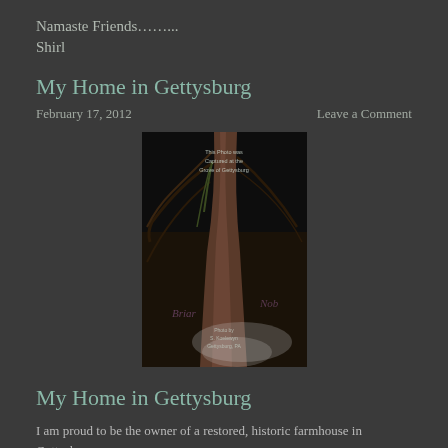Namaste Friends……...
Shirl
My Home in Gettysburg
February 17, 2012
Leave a Comment
[Figure (photo): Dark nighttime photograph of a large tree trunk with drooping branches or vines, with text overlay reading 'This Photo was Captured at the Grove of Gettysburg' at the top and 'Photo by S. Koelewyn Gettysburg, PA' at the bottom, with ghostly mist visible at the base. The word 'Briar' appears faintly on the lower left and 'Nob' on the lower right.]
My Home in Gettysburg
I am proud to be the owner of a restored, historic farmhouse in Gettysburg.
During July 1863, my home served as sanctuary to a Confederate Brigadier…